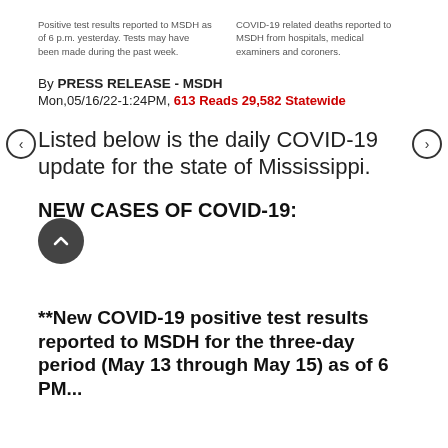Positive test results reported to MSDH as of 6 p.m. yesterday. Tests may have been made during the past week.
COVID-19 related deaths reported to MSDH from hospitals, medical examiners and coroners.
By PRESS RELEASE - MSDH
Mon,05/16/22-1:24PM, 613 Reads 29,582 Statewide
Listed below is the daily COVID-19 update for the state of Mississippi.
NEW CASES OF COVID-19:
955*
**New COVID-19 positive test results reported to MSDH for the three-day period (May 13 through May 15) as of 6 PM...